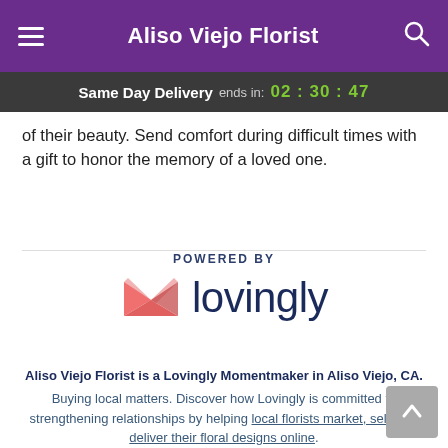Aliso Viejo Florist
Same Day Delivery ends in: 02 : 30 : 47
of their beauty. Send comfort during difficult times with a gift to honor the memory of a loved one.
[Figure (logo): Lovingly logo with pink heart/envelope icon and the word 'lovingly' in dark navy text, with 'POWERED BY' label above]
Aliso Viejo Florist is a Lovingly Momentmaker in Aliso Viejo, CA.
Buying local matters. Discover how Lovingly is committed to strengthening relationships by helping local florists market, sell, and deliver their floral designs online.